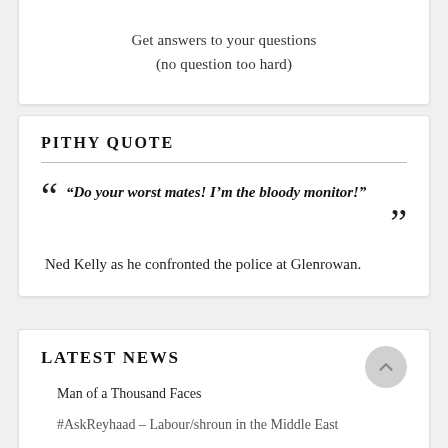Get answers to your questions
(no question too hard)
PITHY QUOTE
"Do your worst mates! I'm the bloody monitor!" Ned Kelly as he confronted the police at Glenrowan.
LATEST NEWS
Man of a Thousand Faces
#AskReyhaad – Labour/shroun in the Middle East